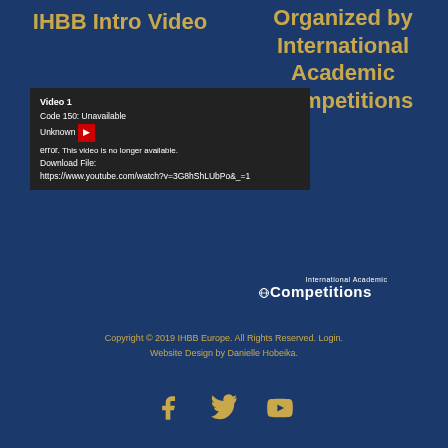IHBB Intro Video
Organized by International Academic Competitions
[Figure (screenshot): Embedded YouTube video player showing an error: Code 150: Unknown error. This video is no longer available. Download File: https://www.youtube.com/watch?v=3G8hShLUbPo&_=1]
[Figure (logo): International Academic Competitions logo with globe icon]
Copyright © 2019 IHBB Europe. All Rights Reserved. Login. Website Design by Danielle Hobeika.
[Figure (other): Social media icons: Facebook, Twitter, YouTube in gold color]